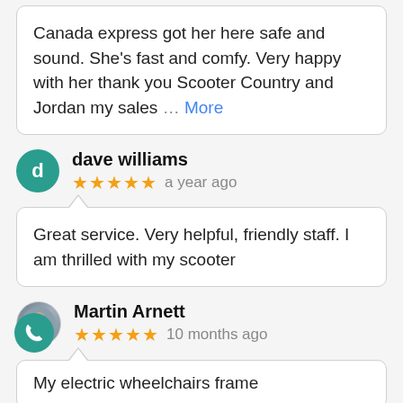Canada express got her here safe and sound. She's fast and comfy. Very happy with her thank you Scooter Country and Jordan my sales … More
dave williams
★★★★★ a year ago
Great service. Very helpful, friendly staff. I am thrilled with my scooter
Martin Arnett
★★★★★ 10 months ago
My electric wheelchairs frame